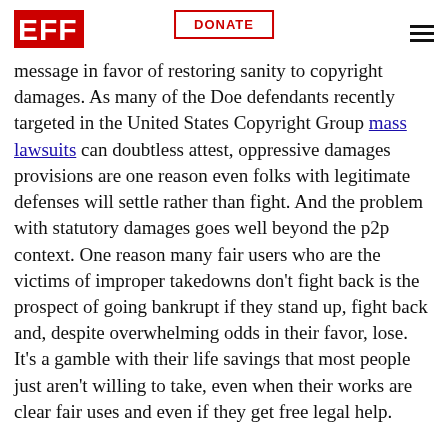EFF | DONATE
imploring Congress to amend the Copyright Act to add secondary liability and damages to peer-to-peer network cases, today's ruling sends a strong message in favor of restoring sanity to copyright damages. As many of the Doe defendants recently targeted in the United States Copyright Group mass lawsuits can doubtless attest, oppressive damages provisions are one reason even folks with legitimate defenses will settle rather than fight. And the problem with statutory damages goes well beyond the p2p context. One reason many fair users who are the victims of improper takedowns don't fight back is the prospect of going bankrupt if they stand up, fight back and, despite overwhelming odds in their favor, lose. It's a gamble with their life savings that most people just aren't willing to take, even when their works are clear fair uses and even if they get free legal help.